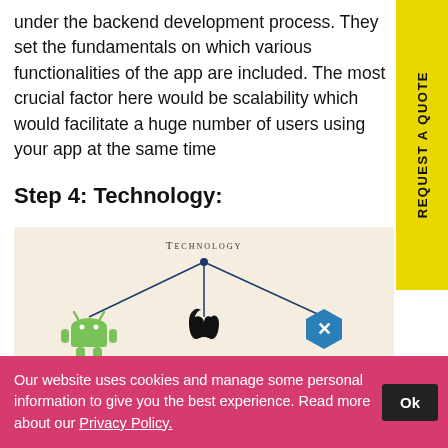under the backend development process. They set the fundamentals on which various functionalities of the app are included. The most crucial factor here would be scalability which would facilitate a huge number of users using your app at the same time
Step 4: Technology:
[Figure (infographic): Technology hierarchy diagram showing TECHNOLOGY at top, branching to Android (green robot logo), Apple (black apple logo), and Xamarin (blue hexagon X logo). Each of these branches further down to technology icons including Kotlin, Java, Objective-C/RubyMotion, Swift, Flutter, and React Native logos.]
Our website uses cookies and manage some personal information to give you the best experience. Read more about our Privacy Policy.